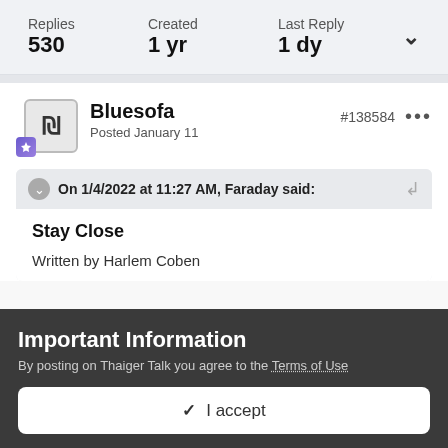Replies 530 | Created 1 yr | Last Reply 1 dy
Bluesofa
Posted January 11
#138584
On 1/4/2022 at 11:27 AM, Faraday said:
Stay Close
Written by Harlem Coben
Important Information
By posting on Thaiger Talk you agree to the Terms of Use
✓ I accept